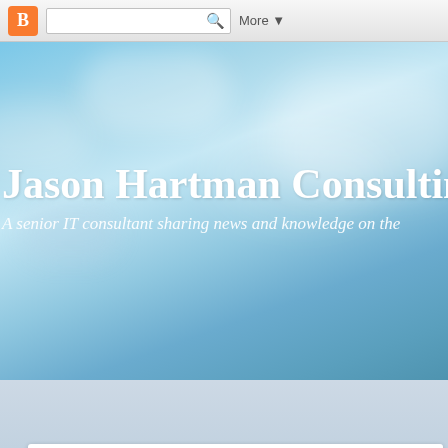[Figure (screenshot): Blogger navigation bar with orange B logo, search box with magnifying glass icon, and More dropdown button]
Jason Hartman Consulting
A senior IT consultant sharing news and knowledge on the
AUG 5, 2004
Links added
I've added a new "My Links" section to the sidebar on the right "My Blog Feed" link can be added into your news aggregator so Tech Roundup. Also have a link to the growing list of RSS blog by Microsoft.
Make sure you check my "Microsoft Business Solutions Links" see all of the Microsoft Webcasts that are available. These are sessions that are broadcast over the Internet. You can attend th